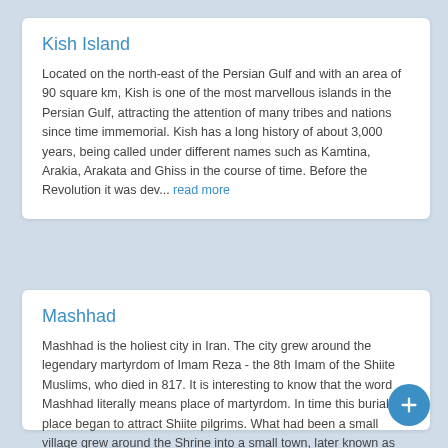Kish Island
Located on the north-east of the Persian Gulf and with an area of 90 square km, Kish is one of the most marvellous islands in the Persian Gulf, attracting the attention of many tribes and nations since time immemorial. Kish has a long history of about 3,000 years, being called under different names such as Kamtina, Arakia, Arakata and Ghiss in the course of time. Before the Revolution it was dev... read more
Mashhad
Mashhad is the holiest city in Iran. The city grew around the legendary martyrdom of Imam Reza - the 8th Imam of the Shiite Muslims, who died in 817. It is interesting to know that the word Mashhad literally means place of martyrdom. In time this burial place began to attract Shiite pilgrims. What had been a small village grew around the Shrine into a small town, later known as Mashhad, but for ma... read more